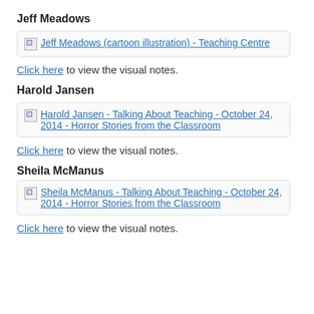Jeff Meadows
[Figure (screenshot): Broken image link placeholder for: Jeff Meadows (cartoon illustration) - Teaching Centre]
Click here to view the visual notes.
Harold Jansen
[Figure (screenshot): Broken image link placeholder for: Harold Jansen - Talking About Teaching - October 24, 2014 - Horror Stories from the Classroom]
Click here to view the visual notes.
Sheila McManus
[Figure (screenshot): Broken image link placeholder for: Sheila McManus - Talking About Teaching - October 24, 2014 - Horror Stories from the Classroom]
Click here to view the visual notes.